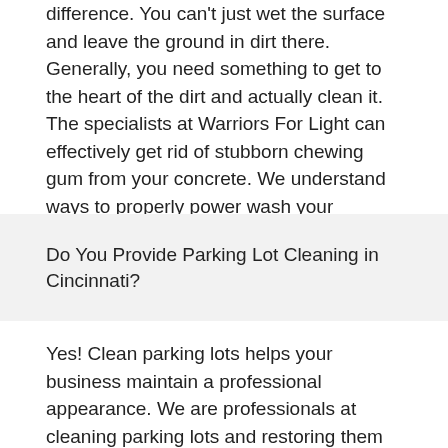difference. You can't just wet the surface and leave the ground in dirt there. Generally, you need something to get to the heart of the dirt and actually clean it. The specialists at Warriors For Light can effectively get rid of stubborn chewing gum from your concrete. We understand ways to properly power wash your concrete sidewalks, driveways, outdoor patios, pathways and cement surfaces.
Do You Provide Parking Lot Cleaning in Cincinnati?
Yes! Clean parking lots helps your business maintain a professional appearance. We are professionals at cleaning parking lots and restoring them to their initial stunning